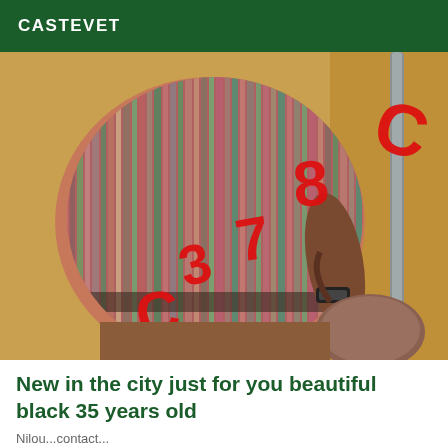CASTEVET
[Figure (photo): Close-up photo of a person wearing a striped multicolor tight dress, photographed from behind/side. Red overlaid characters/numbers are visible on the image. Background shows a yellow wall.]
New in the city just for you beautiful black 35 years old
Nilou...contact...